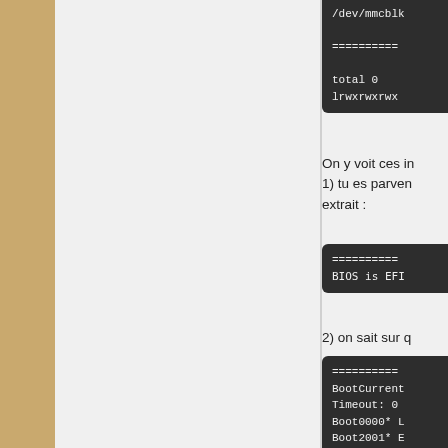/dev/mmcblk
[Figure (screenshot): Terminal code block showing /dev/mmcblk and separator lines with total 0 and lrwxrwxrwx output]
On y voit ces in 1) tu es parven extrait :
[Figure (screenshot): Terminal code block showing separator lines and BIOS is EFI]
2) on sait sur q
[Figure (screenshot): Terminal code block showing BootCurrent, Timeout: 0, Boot0000* L, Boot2001* E, Boot2002* E, Boot2003* E]